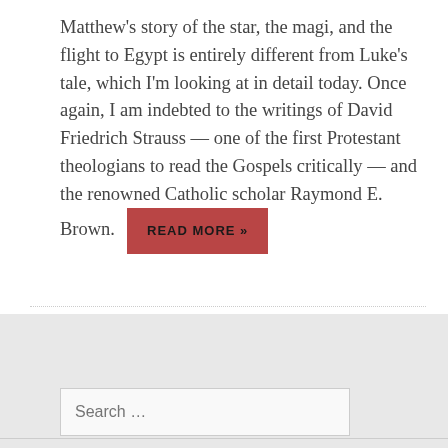Matthew's story of the star, the magi, and the flight to Egypt is entirely different from Luke's tale, which I'm looking at in detail today. Once again, I am indebted to the writings of David Friedrich Strauss — one of the first Protestant theologians to read the Gospels critically — and the renowned Catholic scholar Raymond E. Brown. READ MORE »
Search …